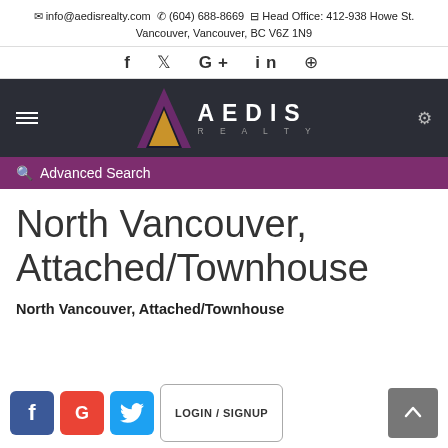✉ info@aedisrealty.com  ✆ (604) 688-8669  ⊞ Head Office: 412-938 Howe St. Vancouver, Vancouver, BC V6Z 1N9
f  ✦  G+  in  ⊕
[Figure (logo): Aedis Realty logo with purple and gold triangle icon on dark nav bar]
Advanced Search
North Vancouver, Attached/Townhouse
North Vancouver, Attached/Townhouse
LOGIN / SIGNUP